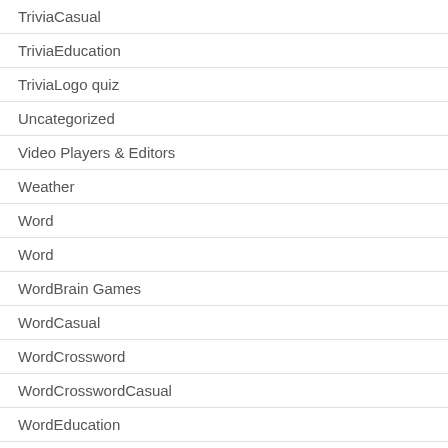TriviaCasual
TriviaEducation
TriviaLogo quiz
Uncategorized
Video Players & Editors
Weather
Word
Word
WordBrain Games
WordCasual
WordCrossword
WordCrosswordCasual
WordEducation